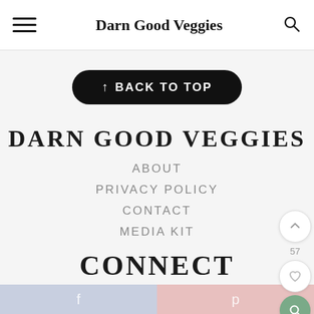Darn Good Veggies
↑ BACK TO TOP
DARN GOOD VEGGIES
ABOUT
PRIVACY POLICY
CONTACT
MEDIA KIT
CONNECT
f  p